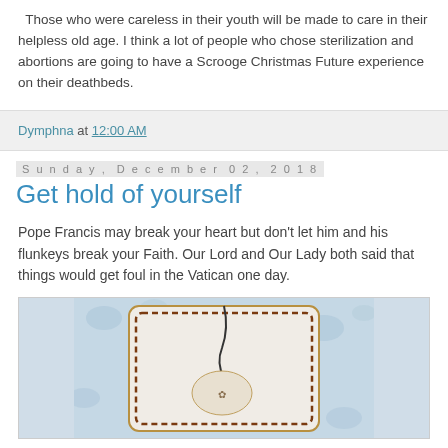Those who were careless in their youth will be made to care in their helpless old age. I think a lot of people who chose sterilization and abortions are going to have a Scrooge Christmas Future experience on their deathbeds.
Dymphna at 12:00 AM
Sunday, December 02, 2018
Get hold of yourself
Pope Francis may break your heart but don't let him and his flunkeys break your Faith. Our Lord and Our Lady both said that things would get foul in the Vatican one day.
[Figure (photo): A close-up photo of a white embroidered fabric sachet or ornament with brown cross-stitch edging and a dark cord tie, placed on a blue and white floral patterned surface.]